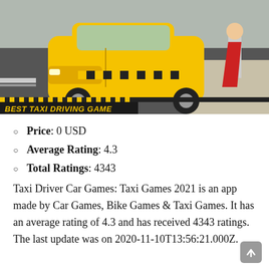[Figure (screenshot): Screenshot of a taxi driving mobile game showing a yellow taxi car on a road with a pedestrian wearing a red cape. Black and yellow checkered bar at the bottom with text 'BEST TAXI DRIVING GAME' in yellow italic font on dark background.]
Price: 0 USD
Average Rating: 4.3
Total Ratings: 4343
Taxi Driver Car Games: Taxi Games 2021 is an app made by Car Games, Bike Games & Taxi Games. It has an average rating of 4.3 and has received 4343 ratings. The last update was on 2020-11-10T13:56:21.000Z.